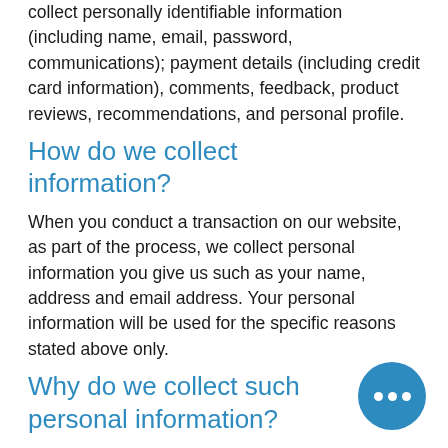collect personally identifiable information (including name, email, password, communications); payment details (including credit card information), comments, feedback, product reviews, recommendations, and personal profile.
How do we collect information?
When you conduct a transaction on our website, as part of the process, we collect personal information you give us such as your name, address and email address. Your personal information will be used for the specific reasons stated above only.
Why do we collect such personal information?
We collect such Non-personal and Personal Information for the following purposes: